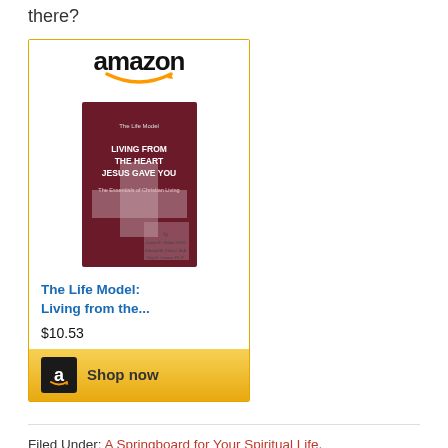there?
[Figure (other): Amazon product widget showing book: The Life Model: Living from the... priced at $10.53 with a Shop now button]
Filed Under: A Springboard for Your Spiritual Life, Christian living, Growth, parenting, Relationships, Spiritual Growth
Tagged With: big babies, children, growing up,